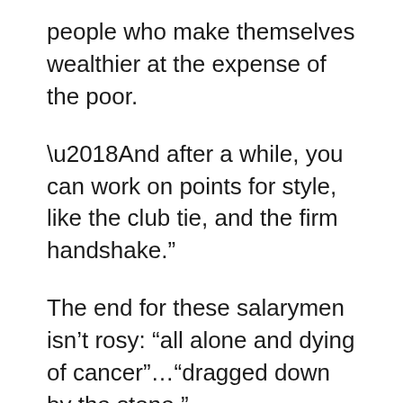people who make themselves wealthier at the expense of the poor.
‘And after a while, you can work on points for style, like the club tie, and the firm handshake.”
The end for these salarymen isn’t rosy: “all alone and dying of cancer”…“dragged down by the stone.”